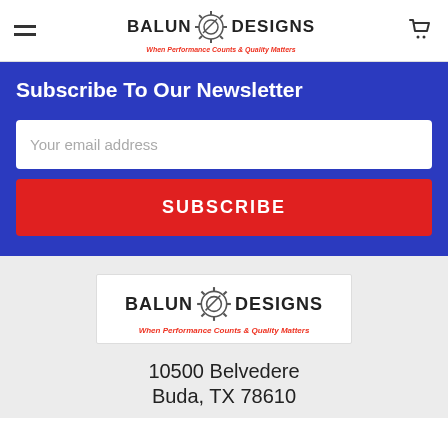BALUN DESIGNS — When Performance Counts & Quality Matters
Subscribe To Our Newsletter
Your email address
SUBSCRIBE
[Figure (logo): Balun Designs logo with tagline: When Performance Counts & Quality Matters]
10500 Belvedere
Buda, TX 78610